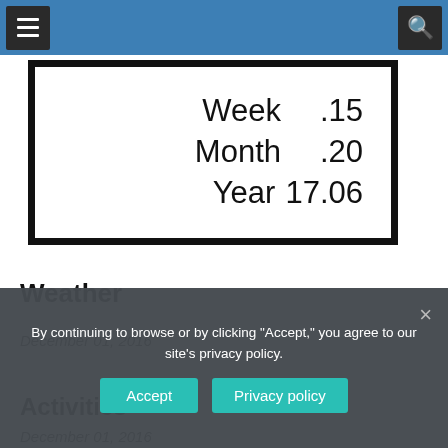Navigation bar with menu and search icons
[Figure (photo): Weather station display showing Week .15, Month .20, Year 17.06 rainfall values on a white screen with black border]
Weather
December 01, 2016
Activities
December 01, 2016
By continuing to browse or by clicking "Accept," you agree to our site's privacy policy.
Accept | Privacy policy